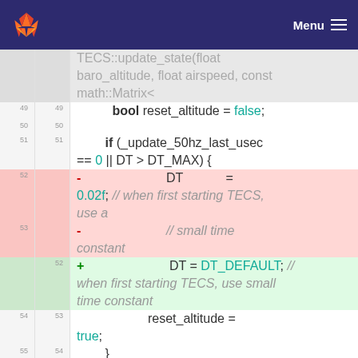GitLab logo | Menu
[Figure (screenshot): GitLab code diff view showing changes to TECS update_state function. Lines 49-56 shown with context, lines 52-53 deleted (red background) showing DT = 0.02f assignment with comment, line 52 added (green background) replacing with DT = DT_DEFAULT. Bottom shows diff hunk header @@ -132,14 +131,6 @@ void]
TECS::update_state(float baro_altitude, float airspeed, const math::Matrix<
49   49        bool reset_altitude = false;
50   50
51   51        if (_update_50hz_last_usec == 0 || DT > DT_MAX) {
52   -                            DT                    = 0.02f; // when first starting TECS, use a
53   -                            // small time constant
52   +                            DT = DT_DEFAULT; // when first starting TECS, use small time constant
54   53                    reset_altitude = true;
55   54        }
56   55
...  ...   @@ -132,14 +131,6 @@ void